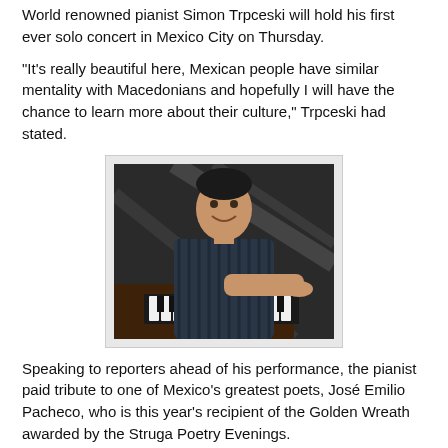World renowned pianist Simon Trpceski will hold his first ever solo concert in Mexico City on Thursday.
"It's really beautiful here, Mexican people have similar mentality with Macedonians and hopefully I will have the chance to learn more about their culture," Trpceski had stated.
[Figure (photo): Photo of pianist Simon Trpceski seated at a grand piano, smiling, wearing a dark striped shirt. Piano keys and lid visible in background.]
Speaking to reporters ahead of his performance, the pianist paid tribute to one of Mexico's greatest poets, José Emilio Pacheco, who is this year's recipient of the Golden Wreath awarded by the Struga Poetry Evenings.
From Mexico, Trpceski departs for Medellin, Colombia for another debut solo performance on Saturday.
His tour resumes in Brazil, which includes three performances in the capital Sao Paulo.